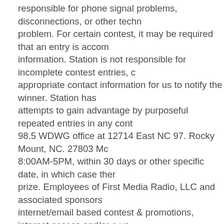responsible for phone signal problems, disconnections, or other technical problem. For certain contest, it may be required that an entry is accompanied by information. Station is not responsible for incomplete contest entries, or appropriate contact information for us to notify the winner. Station has attempts to gain advantage by purposeful repeated entries in any contest. 98.5 WDWG office at 12714 East NC 97. Rocky Mount, NC. 27803 Monday-Friday 8:00AM-5PM, within 30 days or other specific date, in which case there is no prize. Employees of First Media Radio, LLC and associated sponsors internet/email based contest & promotions, internet access and/or a valid are responsible for the provision & maintenance of all facilities required participating in any contest or other offers on this site, you may occasionally contest & events we think will interest you. For more information, call the business hours (Monday through Friday 8:30AM to 5:00PM.